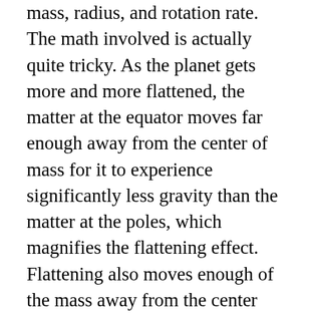mass, radius, and rotation rate. The math involved is actually quite tricky. As the planet gets more and more flattened, the matter at the equator moves far enough away from the center of mass for it to experience significantly less gravity than the matter at the poles, which magnifies the flattening effect. Flattening also moves enough of the mass away from the center that you can't do the usual thing and treat the planet as a dimensionless point. Nonetheless, clever folks like Isaac Newton and Colin Maclaurin worked through these problems in the 18th century, and this is what they got. The flattening of a planet